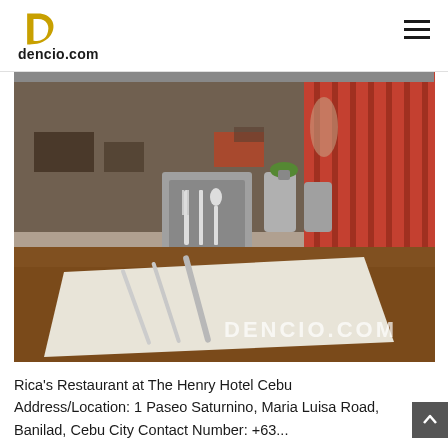dencio.com
[Figure (photo): Interior of Rica's Restaurant showing a round wooden table in the foreground with cutlery and a folded napkin, a menu stand with fork, knife and spoon icons, two metallic cylindrical containers with a succulent plant, and striped red curtains and restaurant seating in the background. A watermark reads DENCIO.COM in the lower right.]
Rica's Restaurant at The Henry Hotel Cebu Address/Location: 1 Paseo Saturnino, Maria Luisa Road, Banilad, Cebu City Contact Number: +63...
Read More »